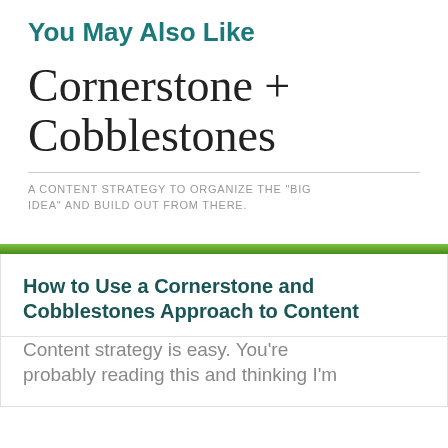You May Also Like
Cornerstone + Cobblestones
A CONTENT STRATEGY TO ORGANIZE THE "BIG IDEA" AND BUILD OUT FROM THERE.
How to Use a Cornerstone and Cobblestones Approach to Content
Content strategy is easy. You're probably reading this and thinking I'm